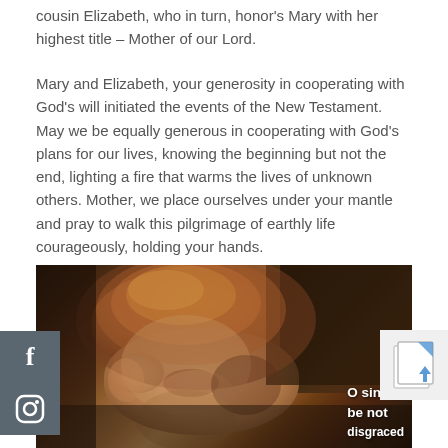cousin Elizabeth, who in turn, honor's Mary with her highest title – Mother of our Lord.
Mary and Elizabeth, your generosity in cooperating with God's will initiated the events of the New Testament. May we be equally generous in cooperating with God's plans for our lives, knowing the beginning but not the end, lighting a fire that warms the lives of unknown others. Mother, we place ourselves under your mantle and pray to walk this pilgrimage of earthly life courageously, holding your hands.
[Figure (photo): Classical painting detail showing a figure with auburn/reddish-brown hair, face tilted downward, against a dark background. Overlay text reads 'O sin... be not... disgraced...' in white.]